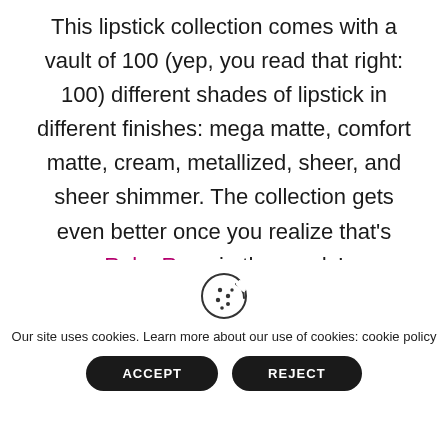This lipstick collection comes with a vault of 100 (yep, you read that right: 100) different shades of lipstick in different finishes: mega matte, comfort matte, cream, metallized, sheer, and sheer shimmer. The collection gets even better once you realize that's Ruby Rose in those ads!
[Figure (other): Cookie consent banner with cookie icon, informational text, and Accept/Reject buttons]